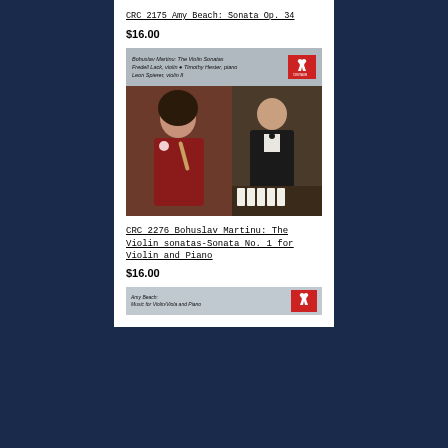CRC 2175 Amy Beach: Sonata Op. 34
$16.00
[Figure (photo): Album cover for CRC 2276 Bohuslav Martinu: The Violin Sonatas. Top banner shows title text and Centaur Records red logo with deer. Main photo shows a woman in red dress playing violin and a man in tuxedo at piano.]
CRC 2276 Bohuslav Martinu: The Violin sonatas-Sonata No. 1 for Violin and Piano
$16.00
[Figure (photo): Partial album cover for Amy Beach: Music for Violin/Viola and Piano, showing top banner with Centaur Records red logo.]